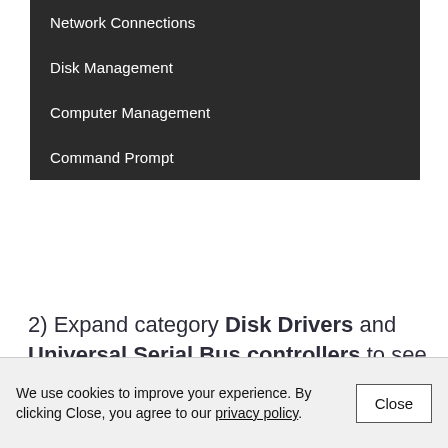[Figure (screenshot): Dark context menu showing Windows system options: Network Connections, Disk Management, Computer Management, Command Prompt]
2) Expand category Disk Drivers and Universal Serial Bus controllers to see if you can find any devices with a yellow exclamation mark on them.
[Figure (screenshot): Partial screenshot showing Device Manager entry in a Windows menu]
We use cookies to improve your experience. By clicking Close, you agree to our privacy policy.